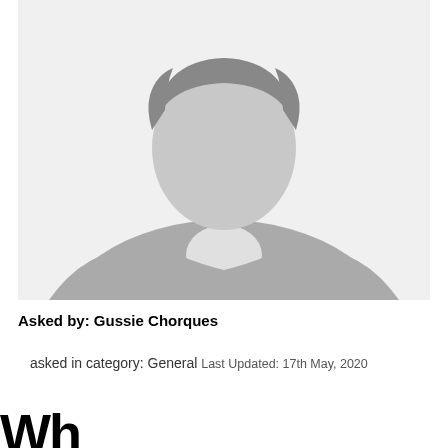[Figure (illustration): Generic gray silhouette avatar of a person (male placeholder profile image)]
Asked by: Gussie Chorques
asked in category: General Last Updated: 17th May, 2020
Wh...